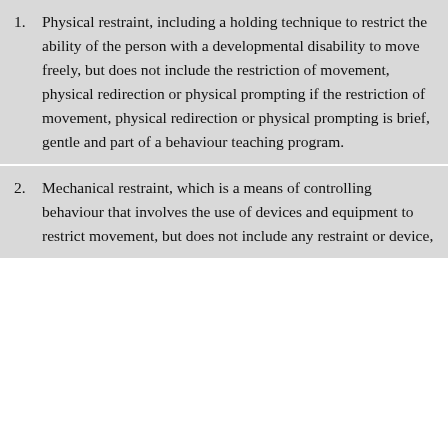1. Physical restraint, including a holding technique to restrict the ability of the person with a developmental disability to move freely, but does not include the restriction of movement, physical redirection or physical prompting if the restriction of movement, physical redirection or physical prompting is brief, gentle and part of a behaviour teaching program.
2. Mechanical restraint, which is a means of controlling behaviour that involves the use of devices and equipment to restrict movement, but does not include any restraint or device,